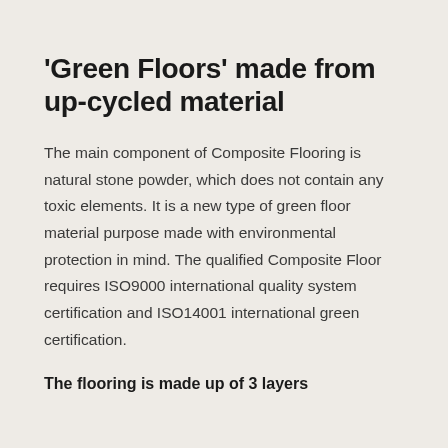'Green Floors' made from up-cycled material
The main component of Composite Flooring is natural stone powder, which does not contain any toxic elements. It is a new type of green floor material purpose made with environmental protection in mind. The qualified Composite Floor requires ISO9000 international quality system certification and ISO14001 international green certification.
The flooring is made up of 3 layers